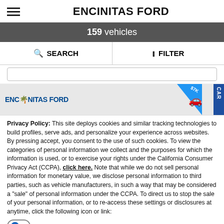ENCINITAS FORD
159 vehicles
SEARCH   FILTER
[Figure (screenshot): Encinitas Ford dealership banner image with logo and car silhouette, blue triangle with $7K label, and CAR tab on right side]
Privacy Policy: This site deploys cookies and similar tracking technologies to build profiles, serve ads, and personalize your experience across websites. By pressing accept, you consent to the use of such cookies. To view the categories of personal information we collect and the purposes for which the information is used, or to exercise your rights under the California Consumer Privacy Act (CCPA), click here. Note that while we do not sell personal information for monetary value, we disclose personal information to third parties, such as vehicle manufacturers, in such a way that may be considered a "sale" of personal information under the CCPA. To direct us to stop the sale of your personal information, or to re-access these settings or disclosures at anytime, click the following icon or link:
Do Not Sell My Personal Information
Language: English   Powered by ComplyAuto
Accept and Continue →   California Privacy Disclosures   ×